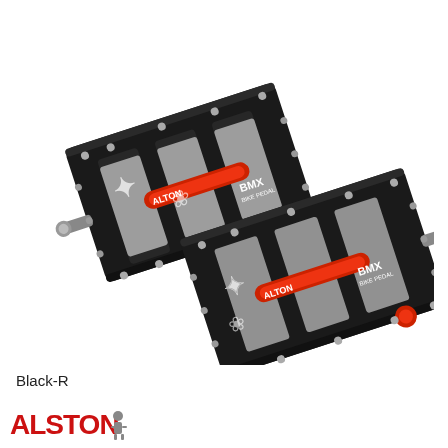[Figure (photo): Two black aluminum BMX bicycle pedals with red axle accents and silver grip pins, shown at an angle against a white background. The pedals have decorative white graphics and the brand name 'BMX' printed on them. The axles are threaded silver metal.]
Black-R
[Figure (logo): ALSTON brand logo in red with a small figure icon, shown at the bottom left of the page.]